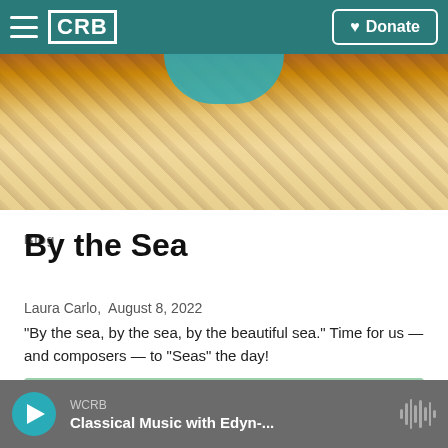CRB | Donate
[Figure (photo): Top image showing wooden textured background with teal/blue water element and sandy beach area]
Blog
By the Sea
Laura Carlo,  August 8, 2022
"By the sea, by the sea, by the beautiful sea." Time for us — and composers — to "Seas" the day!
[Figure (photo): Outdoor playground scene with two people on swings, green trees in background]
WCRB | Classical Music with Edyn-...